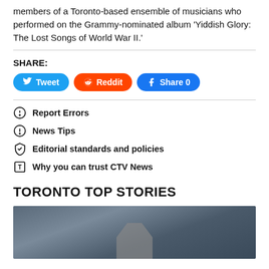members of a Toronto-based ensemble of musicians who performed on the Grammy-nominated album 'Yiddish Glory: The Lost Songs of World War II.'
SHARE:
Tweet
Reddit
Share 0
Report Errors
News Tips
Editorial standards and policies
Why you can trust CTV News
TORONTO TOP STORIES
[Figure (photo): Dark cloudy sky with partial view of a building or structure at the bottom center]